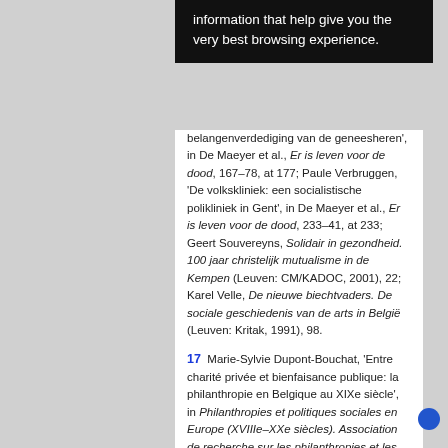[Figure (screenshot): Cookie consent banner with dark background showing text about browsing experience]
belangenverdediging van de geneesheren', in De Maeyer et al., Er is leven voor de dood, 167–78, at 177; Paule Verbruggen, 'De volkskliniek: een socialistische polikliniek in Gent', in De Maeyer et al., Er is leven voor de dood, 233–41, at 233; Geert Souvereyns, Solidair in gezondheid. 100 jaar christelijk mutualisme in de Kempen (Leuven: CM/KADOC, 2001), 22; Karel Velle, De nieuwe biechtvaders. De sociale geschiedenis van de arts in België (Leuven: Kritak, 1991), 98.
17  Marie-Sylvie Dupont-Bouchat, 'Entre charité privée et bienfaisance publique: la philanthropie en Belgique au XIXe siècle', in Philanthropies et politiques sociales en Europe (XVIIIe–XXe siècles). Association de recherche sur les philanthropies et les politiques sociales. Actes du colloque…